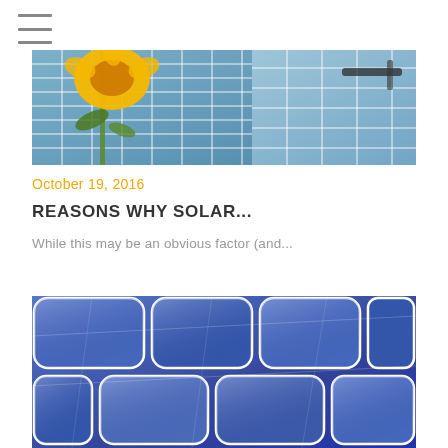☰
[Figure (photo): Close-up of solar panels with a yellow sunflower in the foreground, blue solar panel grid visible in the background and to the right]
October 19, 2016
REASONS WHY SOLAR...
While this may be an obvious factor (and...
[Figure (photo): Close-up macro photograph of blue solar panel cells showing the hexagonal cell pattern and white grid lines]